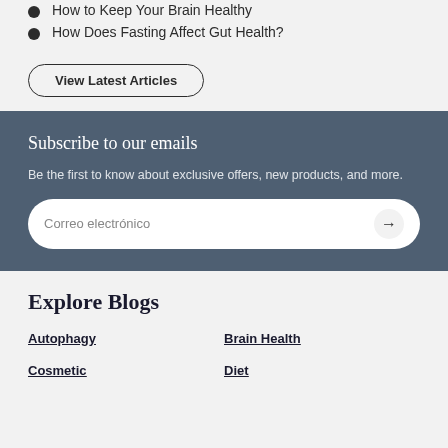How to Keep Your Brain Healthy
How Does Fasting Affect Gut Health?
View Latest Articles
Subscribe to our emails
Be the first to know about exclusive offers, new products, and more.
Correo electrónico
Explore Blogs
Autophagy
Brain Health
Cosmetic
Diet